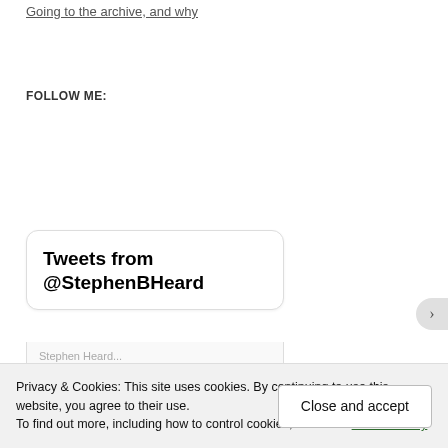Going to the archive, and why
FOLLOW ME:
[Figure (screenshot): Twitter/X widget showing 'Tweets from @StephenBHeard' with a rounded white card widget and a sub-card preview below]
Privacy & Cookies: This site uses cookies. By continuing to use this website, you agree to their use.
To find out more, including how to control cookies, see here: Cookie Policy
Close and accept